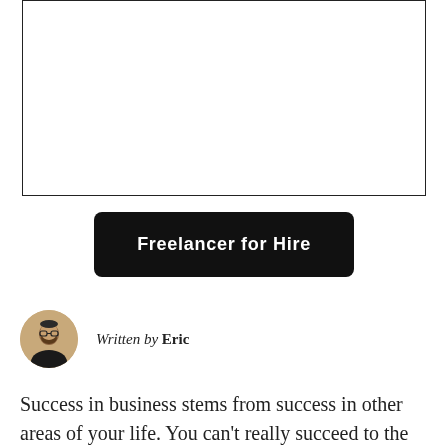[Figure (other): Empty white box with a border, representing a placeholder image area]
Freelancer for Hire
Written by Eric
Success in business stems from success in other areas of your life. You can't really succeed to the